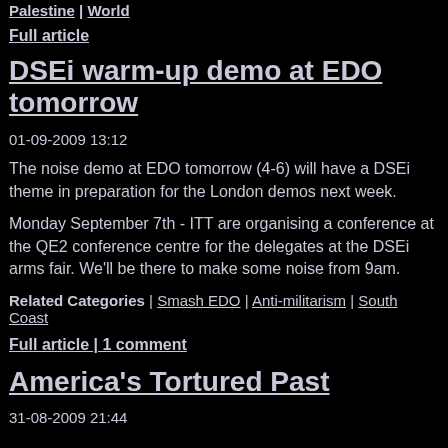Palestine | World
Full article
DSEi warm-up demo at EDO tomorrow
01-09-2009 13:12
The noise demo at EDO tomorrow (4-6) will have a DSEi theme in preparation for the London demos next week.
Monday September 7th - ITT are organising a conference at the QE2 conference centre for the delegates at the DSEi arms fair. We'll be there to make some noise from 9am.
Related Categories | Smash EDO | Anti-militarism | South Coast
Full article | 1 comment
America's Tortured Past
31-08-2009 21:44